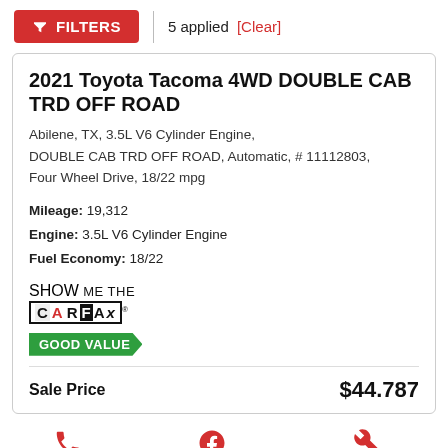FILTERS | 5 applied [Clear]
2021 Toyota Tacoma 4WD DOUBLE CAB TRD OFF ROAD
Abilene, TX, 3.5L V6 Cylinder Engine, DOUBLE CAB TRD OFF ROAD, Automatic, # 11112803, Four Wheel Drive, 18/22 mpg
Mileage: 19,312
Engine: 3.5L V6 Cylinder Engine
Fuel Economy: 18/22
[Figure (logo): Show Me The CARFAX logo with GOOD VALUE badge]
Sale Price $44.787